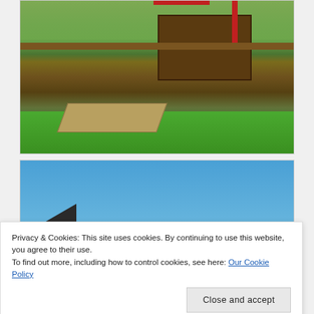[Figure (photo): Outdoor playground wooden structure with ramps, decking, and red railings surrounded by green trees and grass]
[Figure (photo): Outdoor scene showing blue sky with a dark roofline in the lower left and green grass at the bottom]
Privacy & Cookies: This site uses cookies. By continuing to use this website, you agree to their use.
To find out more, including how to control cookies, see here: Our Cookie Policy